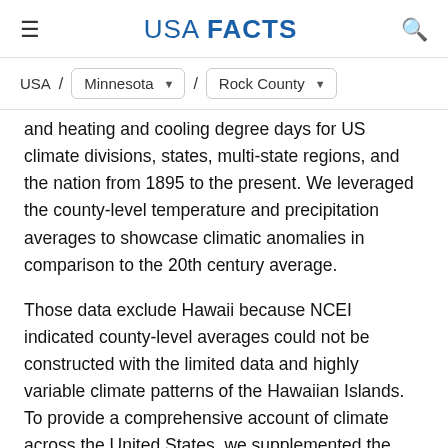USA FACTS
USA / Minnesota / Rock County
and heating and cooling degree days for US climate divisions, states, multi-state regions, and the nation from 1895 to the present. We leveraged the county-level temperature and precipitation averages to showcase climatic anomalies in comparison to the 20th century average.
Those data exclude Hawaii because NCEI indicated county-level averages could not be constructed with the limited data and highly variable climate patterns of the Hawaiian Islands. To provide a comprehensive account of climate across the United States, we supplemented the dataset with individual station data